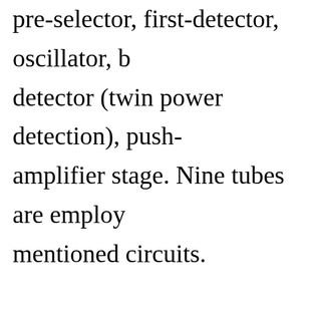pre-selector, first-detector, oscillator, k detector (twin power detection), push- amplifier stage. Nine tubes are employ mentioned circuits. The Model 25 superheterodyne circuit superheterodyne circuit employed in t in that the design of the second-detect of twin-detectors) provides an almost